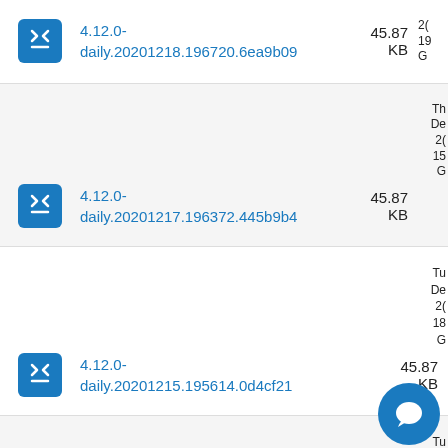4.12.0-daily.20201218.196720.6ea9b09 45.87 KB
4.12.0-daily.20201217.196372.445b9b4 45.87 KB
4.12.0-daily.20201215.195614.0d4cf21 45.87 KB
4.12.0- 45.87